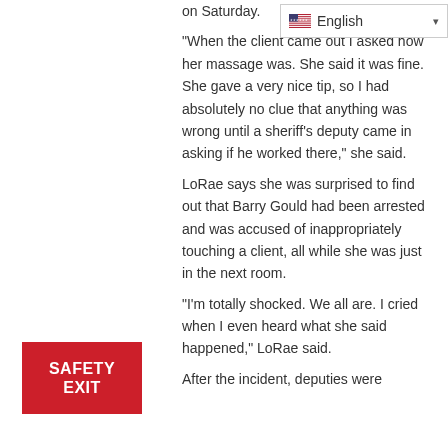[Figure (other): English language selector dropdown with US flag]
on Saturday. "When the client came out I asked how her massage was. She said it was fine. She gave a very nice tip, so I had absolutely no clue that anything was wrong until a sheriff's deputy came in asking if he worked there," she said. LoRae says she was surprised to find out that Barry Gould had been arrested and was accused of inappropriately touching a client, all while she was just in the next room. "I'm totally shocked. We all are. I cried when I even heard what she said happened," LoRae said. After the incident, deputies were
[Figure (other): Safety Exit red button]